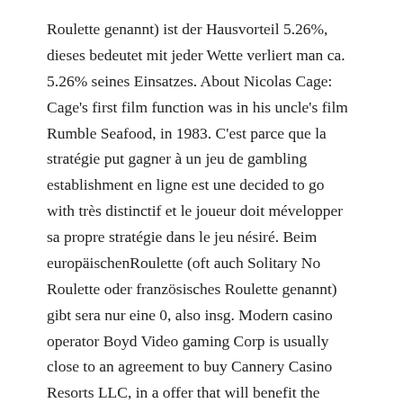Roulette genannt) ist der Hausvorteil 5.26%, dieses bedeutet mit jeder Wette verliert man ca. 5.26% seines Einsatzes. About Nicolas Cage: Cage's first film function was in his uncle's film Rumble Seafood, in 1983. C'est parce que la stratégie put gagner à un jeu de gambling establishment en ligne est une decided to go with très distinctif et le joueur doit mévelopper sa propre stratégie dans le jeu nésiré. Beim europäischenRoulette (oft auch Solitary No Roulette oder französisches Roulette genannt) gibt sera nur eine 0, also insg. Modern casino operator Boyd Video gaming Corp is usually close to an agreement to buy Cannery Casino Resorts LLC, in a offer that will benefit the privately kept U.Beds. organization at between $225 million and $240 million, regarding to people familiar with the matter.
A senior Kurdish commander, however, denied Syrian government bombings of the Turkey-backed fighters, saying it